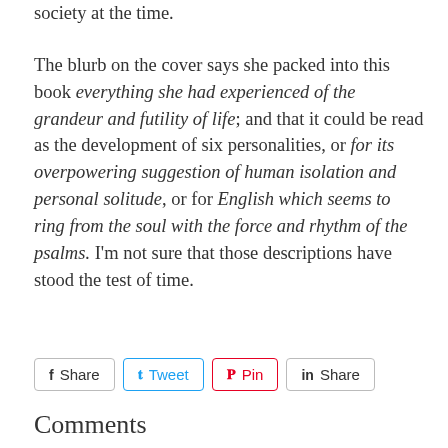society at the time.
The blurb on the cover says she packed into this book everything she had experienced of the grandeur and futility of life; and that it could be read as the development of six personalities, or for its overpowering suggestion of human isolation and personal solitude, or for English which seems to ring from the soul with the force and rhythm of the psalms. I'm not sure that those descriptions have stood the test of time.
Share | Tweet | Pin | Share
Comments